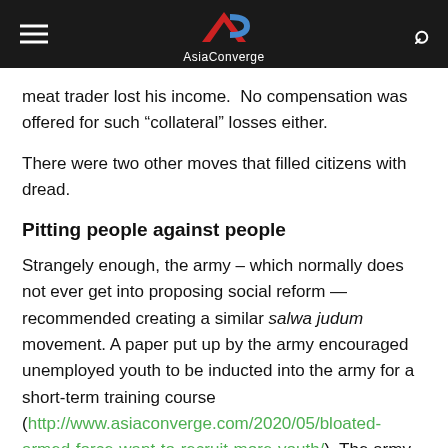AsiaConverge
meat trader lost his income.  No compensation was offered for such “collateral” losses either.
There were two other moves that filled citizens with dread.
Pitting people against people
Strangely enough, the army – which normally does not ever get into proposing social reform — recommended creating a similar salwa judum movement. A paper put up by the army encouraged unemployed youth to be inducted into the army for a short-term training course (http://www.asiaconverge.com/2020/05/bloated-armed-force-want-to-recruit-more-youth/). The army proposal suggested that this would help in giving them a sense of discipline.